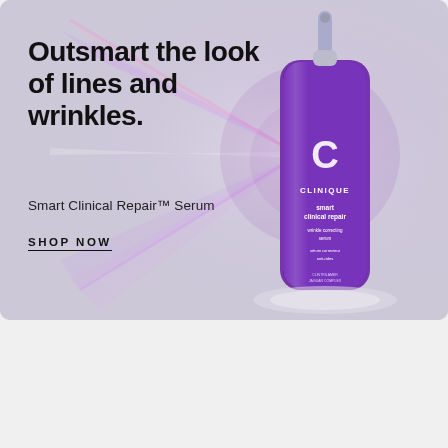[Figure (illustration): Clinique Smart Clinical Repair Wrinkle Correcting Serum advertisement. Light gray-lavender gradient background with purple light rays emanating from a purple Clinique serum bottle on the right. The bottle is tall and cylindrical with a silver pump top, featuring the Clinique logo and 'smart clinical repair wrinkle correcting serum / serum correcteur anti-rides' label text.]
Outsmart the look of lines and wrinkles.
Smart Clinical Repair™ Serum
SHOP NOW
POWERED BY CONCERT   FEEDBACK